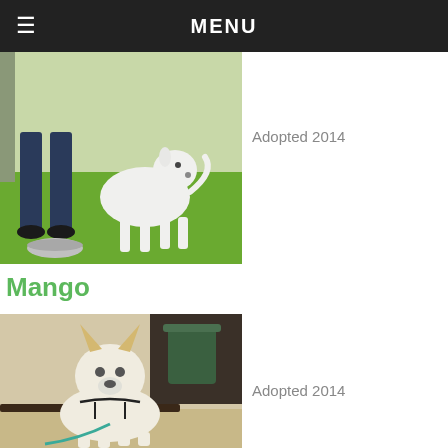≡  MENU
[Figure (photo): White dog standing on green grass with a person's legs visible and a metal bowl nearby]
Adopted 2014
Mango
[Figure (photo): White Shiba Inu dog sitting on pavement wearing a teal leash, patio background with a green pot]
Adopted 2014